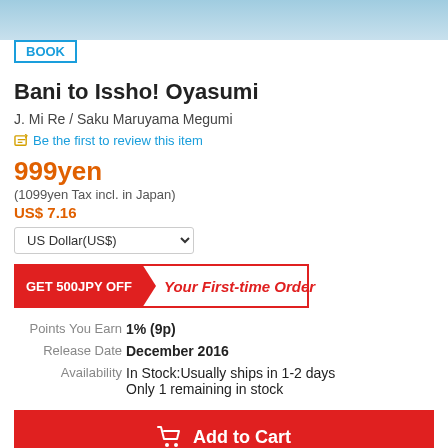[Figure (photo): Partial product image at top of page]
BOOK
Bani to Issho! Oyasumi
J. Mi Re / Saku Maruyama Megumi
Be the first to review this item
999yen
(1099yen Tax incl. in Japan)
US$ 7.16
US Dollar(US$)
GET 500JPY OFF Your First-time Order
| Points You Earn | 1% (9p) |
| Release Date | December 2016 |
| Availability | In Stock:Usually ships in 1-2 days
Only 1 remaining in stock |
Add to Cart
Bookmark